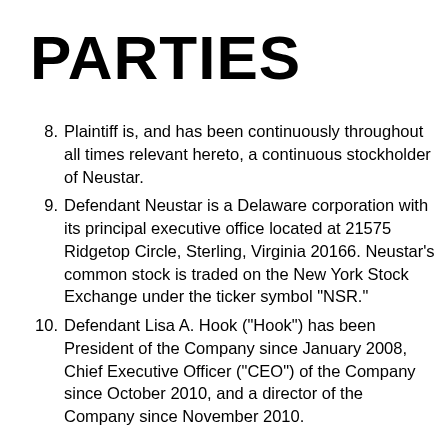PARTIES
8. Plaintiff is, and has been continuously throughout all times relevant hereto, a continuous stockholder of Neustar.
9. Defendant Neustar is a Delaware corporation with its principal executive office located at 21575 Ridgetop Circle, Sterling, Virginia 20166. Neustar’s common stock is traded on the New York Stock Exchange under the ticker symbol “NSR.”
10. Defendant Lisa A. Hook (“Hook”) has been President of the Company since January 2008, Chief Executive Officer (“CEO”) of the Company since October 2010, and a director of the Company since November 2010.